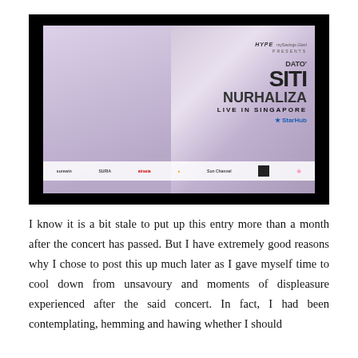[Figure (photo): Concert promotional poster for Dato' Siti Nurhaliza Live in Singapore, showing a woman in white hijab with concert branding, sponsor logos including HYPE, Giant, and StarHub.]
I know it is a bit stale to put up this entry more than a month after the concert has passed. But I have extremely good reasons why I chose to post this up much later as I gave myself time to cool down from unsavoury and moments of displeasure experienced after the said concert. In fact, I had been contemplating, hemming and hawing whether I should